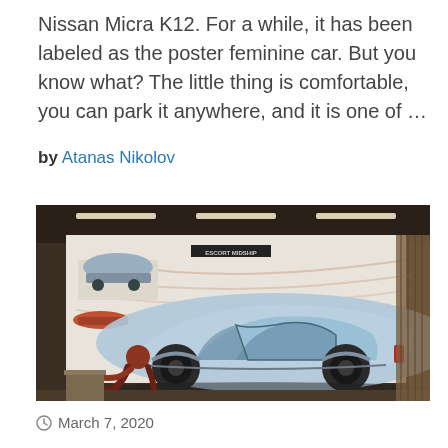Nissan Micra K12. For a while, it has been labeled as the poster feminine car. But you know what? The little thing is comfortable, you can park it anywhere, and it is one of …
by Atanas Nikolov
[Figure (photo): A person crouching next to a large design rendering or mural of a futuristic concept car called 'ESCORT MIDSHIP' on a wall in what appears to be a design studio. The car rendering shows a sleek silver futuristic coupe. Smaller car sketches are visible on the left side of the mural.]
March 7, 2020